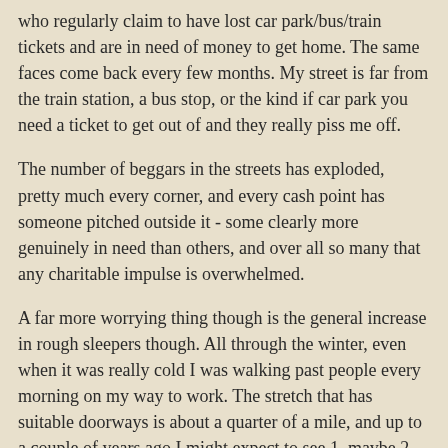who regularly claim to have lost car park/bus/train tickets and are in need of money to get home. The same faces come back every few months. My street is far from the train station, a bus stop, or the kind if car park you need a ticket to get out of and they really piss me off.
The number of beggars in the streets has exploded, pretty much every corner, and every cash point has someone pitched outside it - some clearly more genuinely in need than others, and over all so many that any charitable impulse is overwhelmed.
A far more worrying thing though is the general increase in rough sleepers though. All through the winter, even when it was really cold I was walking past people every morning on my way to work. The stretch that has suitable doorways is about a quarter of a mile, and up to a couple of years ago I might expect to see 1, maybe 2, people. In the last week I've counted as many as 9. Some are more or less permanent fixtures, others come and go. This is just one street in a city, when I change my route I see other bodies in other doorways